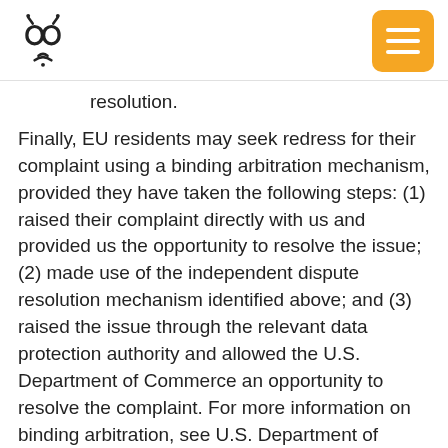[Logo: Wireless Beehive icon] [Menu button]
resolution.
Finally, EU residents may seek redress for their complaint using a binding arbitration mechanism, provided they have taken the following steps: (1) raised their complaint directly with us and provided us the opportunity to resolve the issue; (2) made use of the independent dispute resolution mechanism identified above; and (3) raised the issue through the relevant data protection authority and allowed the U.S. Department of Commerce an opportunity to resolve the complaint. For more information on binding arbitration, see U.S. Department of Commerce's Privacy Shield Framework: Annex I (Binding Arbitration) at https://www.privacyshield.gov/article?id=ANNEX-I-